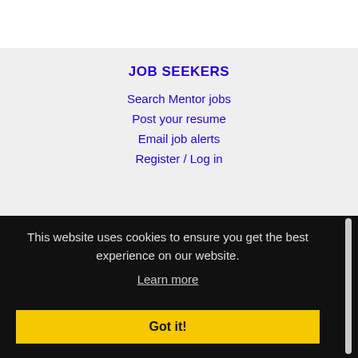JOB SEEKERS
Search Mentor jobs
Post your resume
Email job alerts
Register / Log in
This website uses cookies to ensure you get the best experience on our website.
Learn more
Got it!